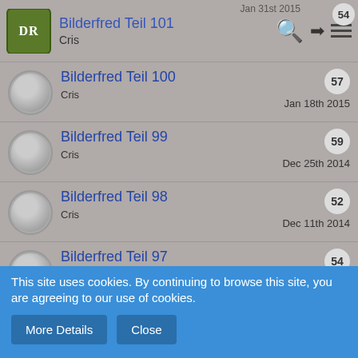Bilderfred Teil 101 | Cris | Jan 31st 2015 | 54
Bilderfred Teil 100 | Cris | Jan 18th 2015 | 57
Bilderfred Teil 99 | Cris | Dec 25th 2014 | 59
Bilderfred Teil 98 | Cris | Dec 11th 2014 | 52
Bilderfred Teil 97 | Cris | Nov 22nd 2014 | 54
Bilderfred Teil 96 | Cris | Oct 30th 2014 | 55
Bilderfred Teil 95 | 58
This site uses cookies. By continuing to browse this site, you are agreeing to our use of cookies.
More Details | Close